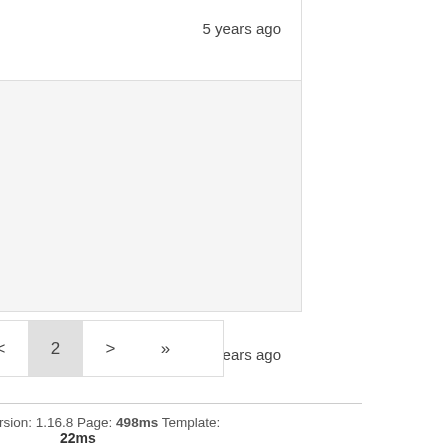5 years ago
s
5 years ago
< 2 > >>
a Version: 1.16.8 Page: 498ms Template: 22ms